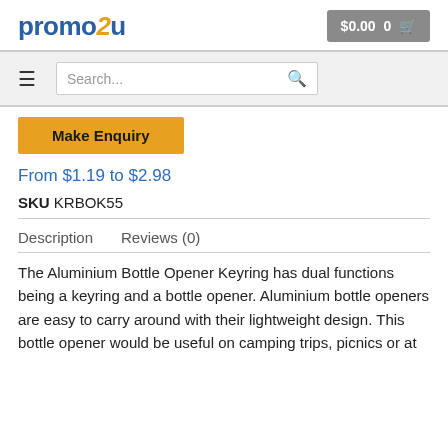promo2u — $0.00 0 [cart]
Search...
Make Enquiry
From $1.19 to $2.98
SKU KRBOK55
Description   Reviews (0)
The Aluminium Bottle Opener Keyring has dual functions being a keyring and a bottle opener. Aluminium bottle openers are easy to carry around with their lightweight design. This bottle opener would be useful on camping trips, picnics or at